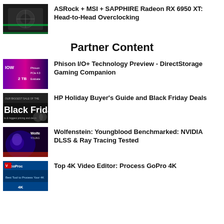[Figure (photo): GPU cooler with green accents thumbnail]
ASRock + MSI + SAPPHIRE Radeon RX 6950 XT: Head-to-Head Overclocking
Partner Content
[Figure (photo): Phison storage product banner with purple/pink tones]
Phison I/O+ Technology Preview - DirectStorage Gaming Companion
[Figure (photo): Black Friday sale banner]
HP Holiday Buyer's Guide and Black Friday Deals
[Figure (photo): Wolfenstein Youngblood game art with character]
Wolfenstein: Youngblood Benchmarked: NVIDIA DLSS & Ray Tracing Tested
[Figure (photo): VideoProc 4K video editor logo/banner]
Top 4K Video Editor: Process GoPro 4K